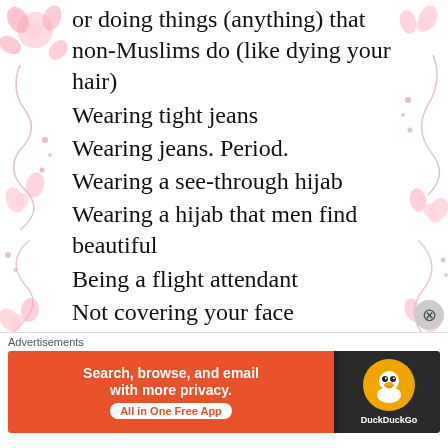or doing things (anything) that non-Muslims do (like dying your hair)
Wearing tight jeans
Wearing jeans. Period.
Wearing a see-through hijab
Wearing a hijab that men find beautiful
Being a flight attendant
Not covering your face
Not covering your hair
Showing your cleavage, arms,
Advertisements
[Figure (infographic): DuckDuckGo advertisement banner: orange left panel with text 'Search, browse, and email with more privacy. All in One Free App', dark right panel with DuckDuckGo duck logo]